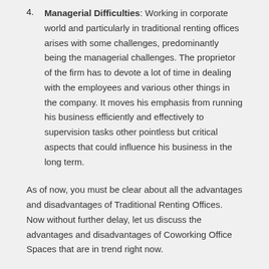4. Managerial Difficulties: Working in corporate world and particularly in traditional renting offices arises with some challenges, predominantly being the managerial challenges. The proprietor of the firm has to devote a lot of time in dealing with the employees and various other things in the company. It moves his emphasis from running his business efficiently and effectively to supervision tasks other pointless but critical aspects that could influence his business in the long term.
As of now, you must be clear about all the advantages and disadvantages of Traditional Renting Offices. Now without further delay, let us discuss the advantages and disadvantages of Coworking Office Spaces that are in trend right now.
Coworking Spaces